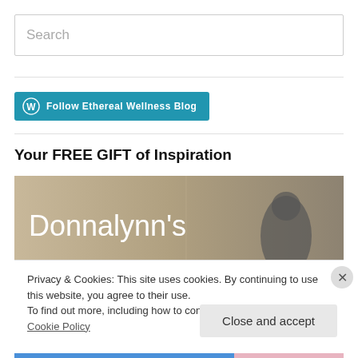Search
[Figure (other): Follow Ethereal Wellness Blog button with WordPress icon]
Your FREE GIFT of Inspiration
[Figure (photo): Image with text 'Donnalynn's' overlaid on a beige/taupe background with a dark silhouette]
Privacy & Cookies: This site uses cookies. By continuing to use this website, you agree to their use.
To find out more, including how to control cookies, see here: Cookie Policy
Close and accept